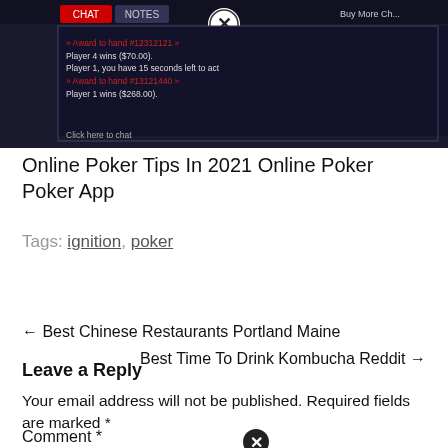[Figure (screenshot): Screenshot of an online poker game interface showing a dark-themed chat/notes panel with messages like 'Player 4 wins ($70.00)', 'Player 1, you have 15 seconds left to act', 'Player 1 wins ($268.00)', 'Click here to chat'. A close button (circled X) appears at the top center. The Buy More Chips button is partially visible at top right.]
Online Poker Tips In 2021 Online Poker Poker App
Tags: ignition, poker
← Best Chinese Restaurants Portland Maine
Best Time To Drink Kombucha Reddit →
Leave a Reply
Your email address will not be published. Required fields are marked *
Comment *